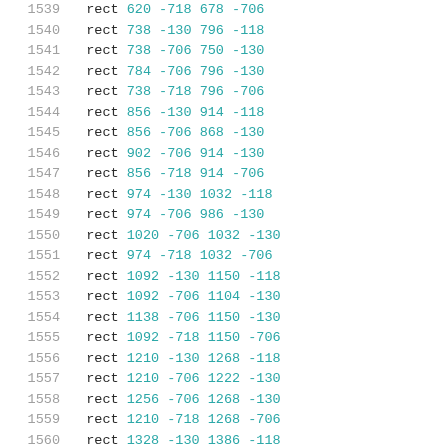1539  rect 620 -718 678 -706
1540  rect 738 -130 796 -118
1541  rect 738 -706 750 -130
1542  rect 784 -706 796 -130
1543  rect 738 -718 796 -706
1544  rect 856 -130 914 -118
1545  rect 856 -706 868 -130
1546  rect 902 -706 914 -130
1547  rect 856 -718 914 -706
1548  rect 974 -130 1032 -118
1549  rect 974 -706 986 -130
1550  rect 1020 -706 1032 -130
1551  rect 974 -718 1032 -706
1552  rect 1092 -130 1150 -118
1553  rect 1092 -706 1104 -130
1554  rect 1138 -706 1150 -130
1555  rect 1092 -718 1150 -706
1556  rect 1210 -130 1268 -118
1557  rect 1210 -706 1222 -130
1558  rect 1256 -706 1268 -130
1559  rect 1210 -718 1268 -706
1560  rect 1328 -130 1386 -118